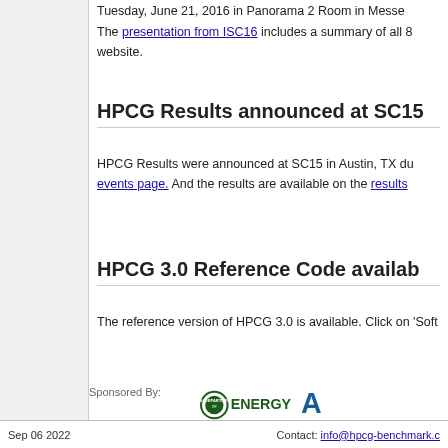Tuesday, June 21, 2016 in Panorama 2 Room in Messe ... website.
The presentation from ISC16 includes a summary of all 8... website.
HPCG Results announced at SC15
HPCG Results were announced at SC15 in Austin, TX du... events page. And the results are available on the results...
HPCG 3.0 Reference Code availab...
The reference version of HPCG 3.0 is available. Click on 'Soft...
[Figure (logo): ICL UT logo and Sandia National Laboratories logo]
Sponsored By:
[Figure (logo): U.S. Department of Energy logo and another sponsor logo]
Sep 06 2022    Contact: info@hpcg-benchmark.c...